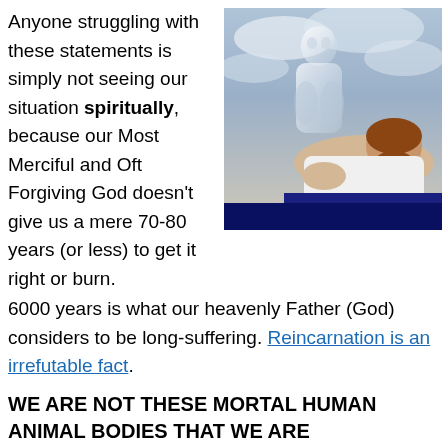Anyone struggling with these statements is simply not seeing our situation spiritually, because our Most Merciful and Oft Forgiving God doesn't give us a mere 70-80 years (or less) to get it right or burn. 6000 years is what our heavenly Father (God) considers to be long-suffering. Reincarnation is an irrefutable fact.
[Figure (photo): A composite spiritual image showing a bearded man lying down with a translucent ghostly figure of a man rising above him, set against a cloudy sky background, representing the concept of the soul leaving the body.]
WE ARE NOT THESE MORTAL HUMAN ANIMAL BODIES THAT WE ARE TEMPORARILY USING.
We are immortal Souls/spiritual-energy Beings of